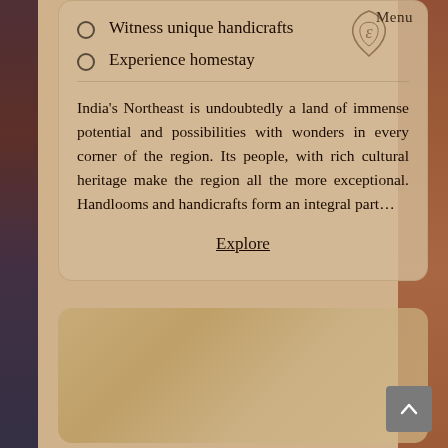Menu
Witness unique handicrafts
Experience homestay
India's Northeast is undoubtedly a land of immense potential and possibilities with wonders in every corner of the region. Its people, with rich cultural heritage make the region all the more exceptional. Handlooms and handicrafts form an integral part...
Explore
[Figure (photo): Background image showing people in traditional Northeast Indian attire/handicrafts]